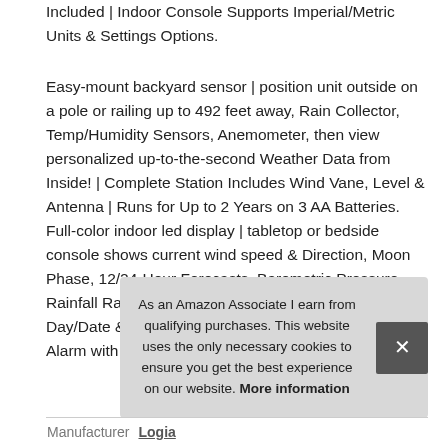Included | Indoor Console Supports Imperial/Metric Units & Settings Options.
Easy-mount backyard sensor | position unit outside on a pole or railing up to 492 feet away, Rain Collector, Temp/Humidity Sensors, Anemometer, then view personalized up-to-the-second Weather Data from Inside! | Complete Station Includes Wind Vane, Level & Antenna | Runs for Up to 2 Years on 3 AA Batteries. Full-color indoor led display | tabletop or bedside console shows current wind speed & Direction, Moon Phase, 12/24-Hour Forecasts, Barometric Pressure, Rainfall Rate, Outdoor & Indoor Temp/Humidity, Day/Date & more | includes dimmable backlight & Alarm with Ice & Other Extreme Weather Not
As an Amazon Associate I earn from qualifying purchases. This website uses the only necessary cookies to ensure you get the best experience on our website. More information
Manufacturer  Logia